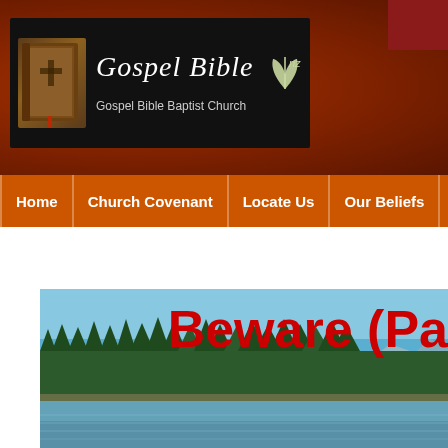[Figure (logo): Gospel Bible Baptist Church logo banner on dark background with bible image and New Zealand silver fern]
Home | Church Covenant | Locate Us | Our Beliefs | How to Ge...
[Figure (photo): Outdoor lake scene with pine trees and mountains, overlaid with red text 'Beware (Pa...' partially visible]